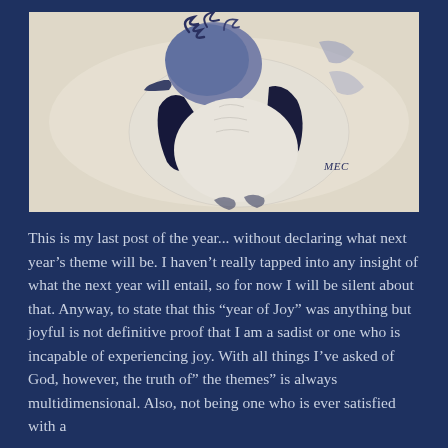[Figure (illustration): A watercolor or pencil illustration of a bird (appears to be a penguin or similar seabird) rendered in blue and white tones on a pale background, with a signature 'MEC' in the lower right area of the artwork.]
This is my last post of the year... without declaring what next year's theme will be. I haven't really tapped into any insight of what the next year will entail, so for now I will be silent about that. Anyway, to state that this “year of Joy” was anything but joyful is not definitive proof that I am a sadist or one who is incapable of experiencing joy. With all things I’ve asked of God, however, the truth of” the themes” is always multidimensional. Also, not being one who is ever satisfied with a